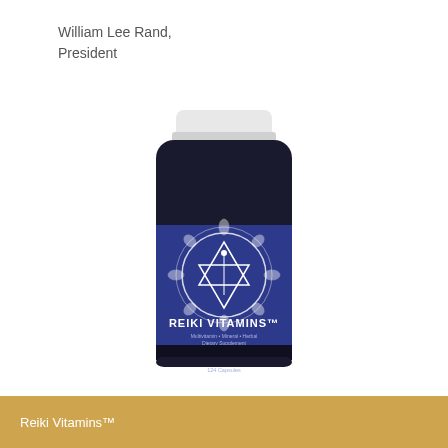William Lee Rand,
President
[Figure (photo): A dark bottle of Reiki Vitamins dietary supplement with a blue label featuring a mandala/chakra design and the text 'REIKI VITAMINS™ Multivitamin • Mineral • Herbal Dietary Supplement Contains 60 Ingredients 124 Capsules'. The bottle has a white cap.]
Reiki Vitamins™